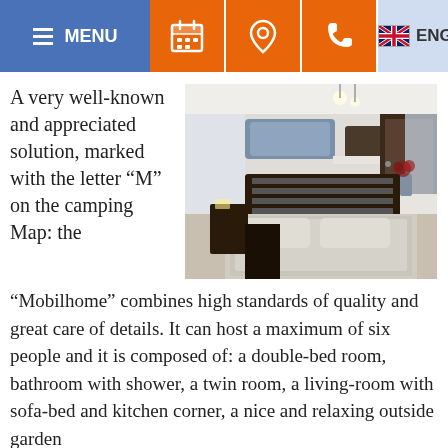MENU | calendar icon | location icon | phone icon | ENG
A very well-known and appreciated solution, marked with the letter “M” on the camping Map: the “Mobilhome” combines high standards of quality and great care of details. It can host a maximum of six people and it is composed of: a double-bed room, bathroom with shower, a twin room, a living-room with sofa-bed and kitchen corner, a nice and relaxing outside garden
[Figure (photo): Interior photo of a mobilhome bedroom showing a double bed with patterned bedding, dark wood headboard, wall-mounted shelving units, a wardrobe, and decorative flowers in a vase on a white shelf.]